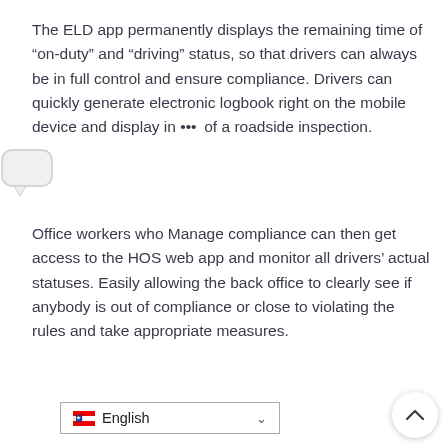The ELD app permanently displays the remaining time of “on-duty” and “driving” status, so that drivers can always be in full control and ensure compliance. Drivers can quickly generate electronic logbook right on the mobile device and display in case of a roadside inspection.
Office workers who Manage compliance can then get access to the HOS web app and monitor all drivers’ actual statuses. Easily allowing the back office to clearly see if anybody is out of compliance or close to violating the rules and take appropriate measures.
[Figure (other): A small speech bubble / chat icon overlay partially visible on the left side of the page]